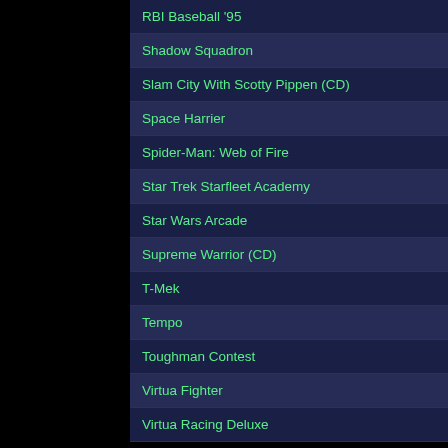RBI Baseball '95
Shadow Squadron
Slam City With Scotty Pippen (CD)
Space Harrier
Spider-Man: Web of Fire
Star Trek Starfleet Academy
Star Wars Arcade
Supreme Warrior (CD)
T-Mek
Tempo
Toughman Contest
Virtua Fighter
Virtua Racing Deluxe